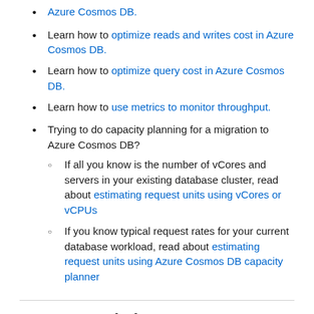Azure Cosmos DB.
Learn how to optimize reads and writes cost in Azure Cosmos DB.
Learn how to optimize query cost in Azure Cosmos DB.
Learn how to use metrics to monitor throughput.
Trying to do capacity planning for a migration to Azure Cosmos DB?
If all you know is the number of vCores and servers in your existing database cluster, read about estimating request units using vCores or vCPUs
If you know typical request rates for your current database workload, read about estimating request units using Azure Cosmos DB capacity planner
Recommended content